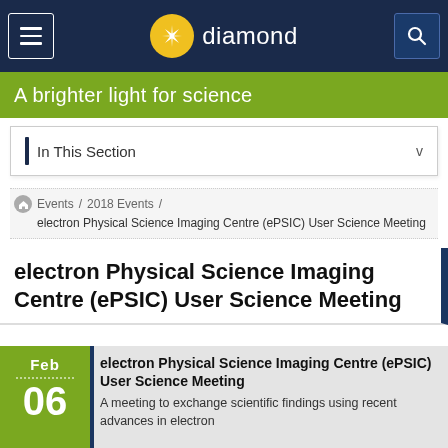[Figure (screenshot): Diamond Light Source website navigation bar with hamburger menu, Diamond logo, and search icon on dark navy background]
A brighter light for science
In This Section
Events / 2018 Events / electron Physical Science Imaging Centre (ePSIC) User Science Meeting
electron Physical Science Imaging Centre (ePSIC) User Science Meeting
Feb 06
electron Physical Science Imaging Centre (ePSIC) User Science Meeting
A meeting to exchange scientific findings using recent advances in electron...